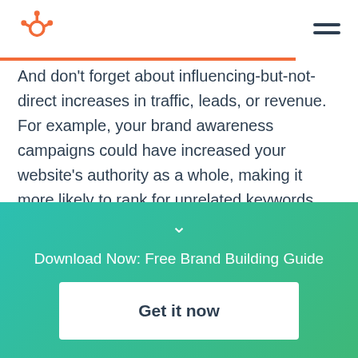HubSpot logo and navigation
And don't forget about influencing-but-not-direct increases in traffic, leads, or revenue. For example, your brand awareness campaigns could have increased your website's authority as a whole, making it more likely to rank for unrelated keywords that bring in more organic traffic. Or, if one of your brand awareness campaigns was a referral program, your current customers might have forwarded the referral
[Figure (infographic): Teal-to-green gradient call-to-action banner with chevron down arrow, 'Download Now: Free Brand Building Guide' text, and a white 'Get it now' button]
Download Now: Free Brand Building Guide
Get it now